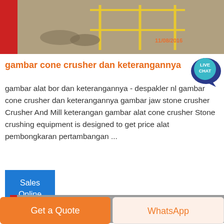[Figure (photo): Industrial/mining facility floor with yellow metal frame structures, timestamp 11/08/2016 visible.]
gambar cone crusher dan keterangannya
gambar alat bor dan keterangannya - despakler nl gambar cone crusher dan keterangannya gambar jaw stone crusher Crusher And Mill keterangan gambar alat cone crusher Stone crushing equipment is designed to get price alat pembongkaran pertambangan ...
[Figure (illustration): Live Chat speech bubble icon badge, teal/dark blue.]
Sales Online
[Figure (photo): Industrial machinery/equipment photo at the bottom of the page.]
Get a Quote
WhatsApp